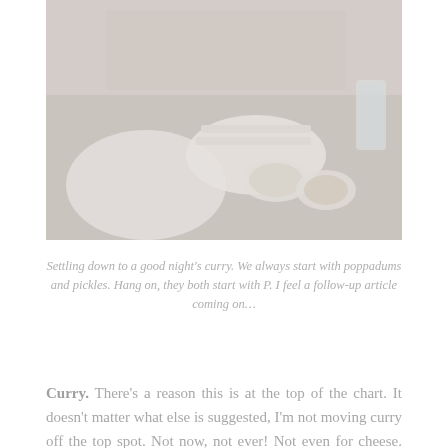[Figure (photo): A person sitting at a restaurant table with Indian food — poppadums on a plate, small bowls of pickles and sauces, and a glass of water. The image is faded/washed out.]
Settling down to a good night's curry. We always start with poppadums and pickles. Hang on, they both start with P. I feel a follow-up article coming on…
Curry. There's a reason this is at the top of the chart. It doesn't matter what else is suggested, I'm not moving curry off the top spot. Not now, not ever! Not even for cheese. Just thinking